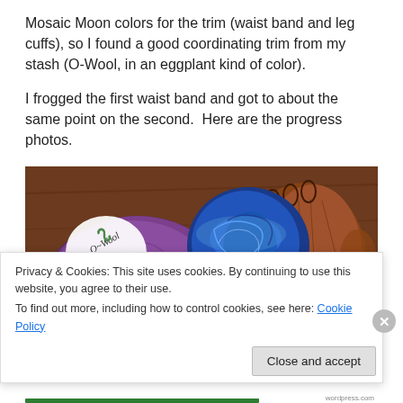Mosaic Moon colors for the trim (waist band and leg cuffs), so I found a good coordinating trim from my stash (O-Wool, in an eggplant kind of color).

I frogged the first waist band and got to about the same point on the second.  Here are the progress photos.
[Figure (photo): Photo of yarn balls and a knitted swatch on a wooden surface. A large purple/eggplant ball of O-Wool yarn with a white label, a blue multicolor ball of yarn, a small green multicolor ball, and a brown knitted fabric swatch with loops.]
Privacy & Cookies: This site uses cookies. By continuing to use this website, you agree to their use.
To find out more, including how to control cookies, see here: Cookie Policy